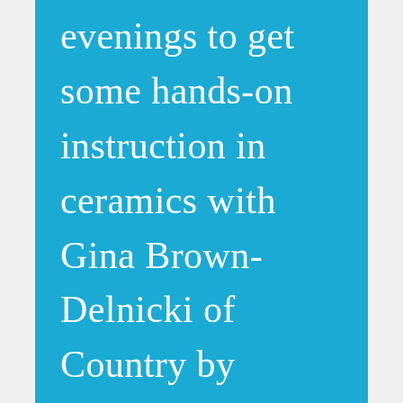evenings to get some hands-on instruction in ceramics with Gina Brown-Delnicki of Country by Design. Sit and paint or classes are $5 a night; this does not include